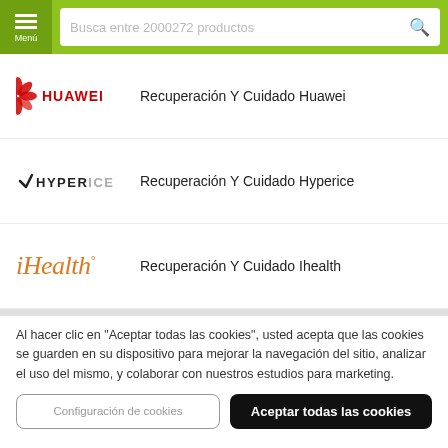Menú | Busca entre 2000272 productos
Recuperación Y Cuidado Huawei
Recuperación Y Cuidado Hyperice
Recuperación Y Cuidado Ihealth
Al hacer clic en "Aceptar todas las cookies", usted acepta que las cookies se guarden en su dispositivo para mejorar la navegación del sitio, analizar el uso del mismo, y colaborar con nuestros estudios para marketing.
Configuración de cookies
Aceptar todas las cookies